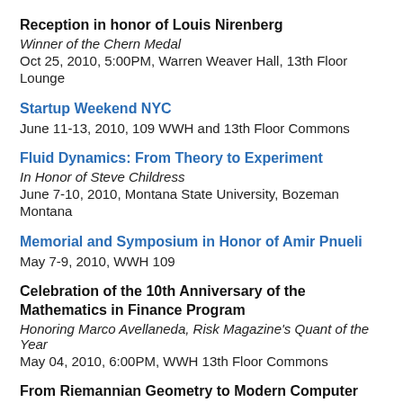Reception in honor of Louis Nirenberg
Winner of the Chern Medal
Oct 25, 2010, 5:00PM, Warren Weaver Hall, 13th Floor Lounge
Startup Weekend NYC
June 11-13, 2010, 109 WWH and 13th Floor Commons
Fluid Dynamics: From Theory to Experiment
In Honor of Steve Childress
June 7-10, 2010, Montana State University, Bozeman Montana
Memorial and Symposium in Honor of Amir Pnueli
May 7-9, 2010, WWH 109
Celebration of the 10th Anniversary of the Mathematics in Finance Program
Honoring Marco Avellaneda, Risk Magazine's Quant of the Year
May 04, 2010, 6:00PM, WWH 13th Floor Commons
From Riemannian Geometry to Modern Computer Graphics
Speaker: Shing-Tung Yau, Harvard University
Apr 30, 2010, 4:00PM - 5:00PM, Jacobs Academic Building, Room 474
Six MetroTech Center, Brooklyn, New York